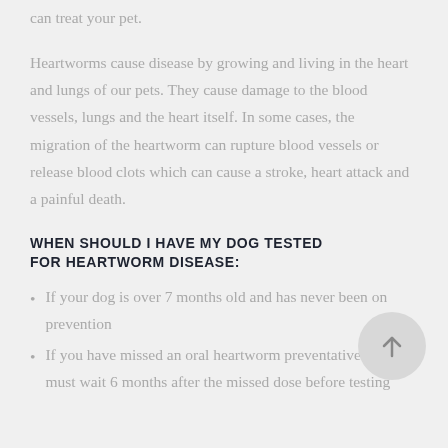can treat your pet.
Heartworms cause disease by growing and living in the heart and lungs of our pets. They cause damage to the blood vessels, lungs and the heart itself. In some cases, the migration of the heartworm can rupture blood vessels or release blood clots which can cause a stroke, heart attack and a painful death.
WHEN SHOULD I HAVE MY DOG TESTED FOR HEARTWORM DISEASE:
If your dog is over 7 months old and has never been on prevention
If you have missed an oral heartworm preventative- you must wait 6 months after the missed dose before testing